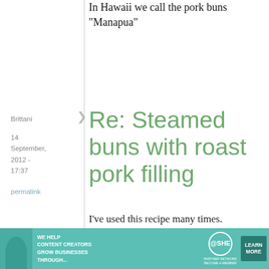In Hawaii we call the pork buns "Manapua"
Brittani
14 September, 2012 - 17:37
permalink
Re: Steamed buns with roast pork filling
I've used this recipe many times.
[Figure (other): Advertisement banner: SHE Media Partner Network - We help content creators grow businesses through... Learn More]